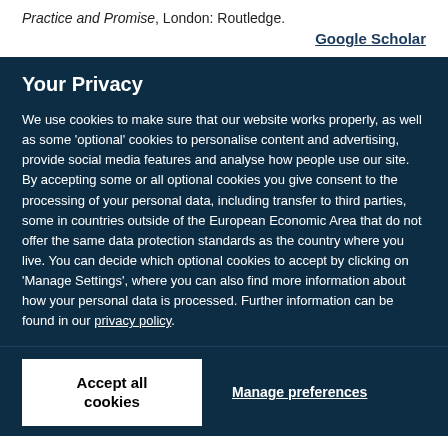Practice and Promise, London: Routledge.
Google Scholar
Your Privacy
We use cookies to make sure that our website works properly, as well as some 'optional' cookies to personalise content and advertising, provide social media features and analyse how people use our site. By accepting some or all optional cookies you give consent to the processing of your personal data, including transfer to third parties, some in countries outside of the European Economic Area that do not offer the same data protection standards as the country where you live. You can decide which optional cookies to accept by clicking on 'Manage Settings', where you can also find more information about how your personal data is processed. Further information can be found in our privacy policy.
Accept all cookies
Manage preferences